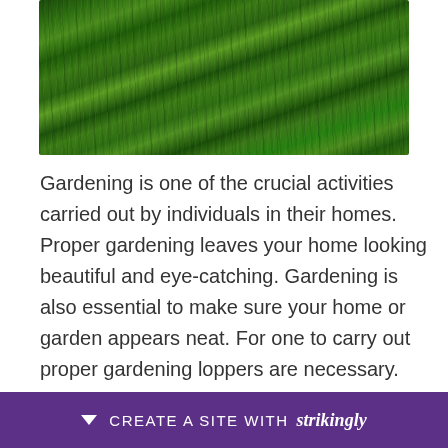[Figure (photo): Close-up photograph of green grass lawn viewed from above, showing dense blades of grass]
Gardening is one of the crucial activities carried out by individuals in their homes. Proper gardening leaves your home looking beautiful and eye-catching. Gardening is also essential to make sure your home or garden appears neat. For one to carry out proper gardening loppers are necessary. Loppers ensure the unwanted parts of a tree or flower are cut off to facilitate an appropriate growth. People who carry out pruning activities can opt to buy their loppers from any loppers shop. How the
CREATE A SITE WITH strikingly